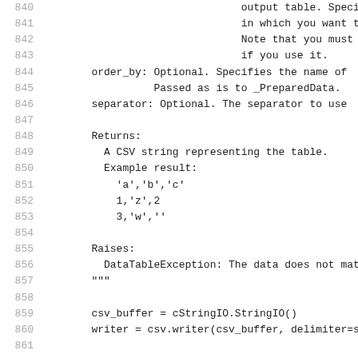840-861: Source code docstring continuation showing parameters (order_by, separator), Returns section with CSV string example, Raises section with DataTableException, and code lines for csv_buffer and writer initialization.